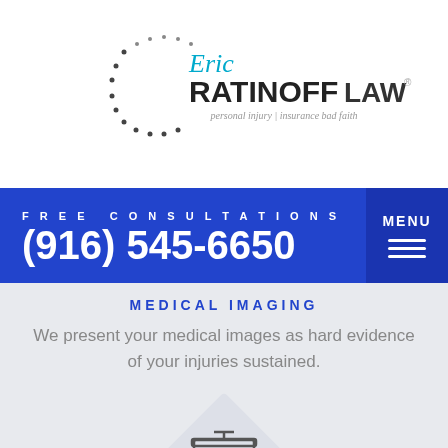[Figure (logo): Eric Ratinoff Law logo with decorative dots, name in two colors with tagline 'personal injury | insurance bad faith']
FREE CONSULTATIONS
(916) 545-6650
MEDICAL IMAGING
We present your medical images as hard evidence of your injuries sustained.
[Figure (illustration): Presentation board icon with bar chart inside a diamond shape]
STORYBOARDS